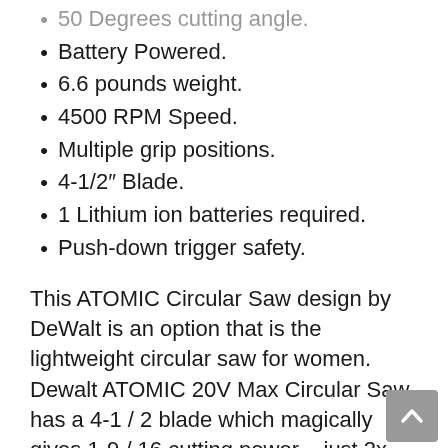50 Degrees cutting angle.
Battery Powered.
6.6 pounds weight.
4500 RPM Speed.
Multiple grip positions.
4-1/2″ Blade.
1 Lithium ion batteries required.
Push-down trigger safety.
This ATOMIC Circular Saw design by DeWalt is an option that is the lightweight circular saw for women. Dewalt ATOMIC 20V Max Circular Saw has a 4-1 / 2 blade which magically gives 1-9 / 16 cutting power – just 2x material is enough to cut 90-degree cuts.
Its blade design is very nice, the blade guard is plastic, but the cover is made of hard